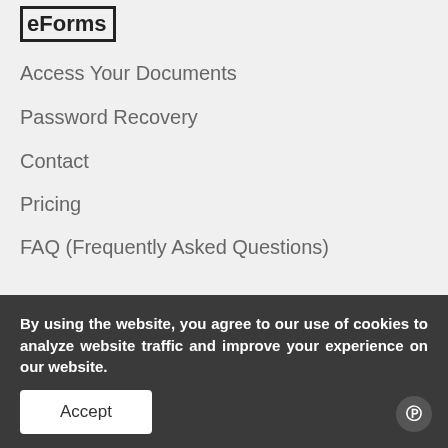[Figure (logo): eForms logo with bracket icon and bold text]
Access Your Documents
Password Recovery
Contact
Pricing
FAQ (Frequently Asked Questions)
Terms of Use
CCPA
Privacy Policy
Affiliate Program
Terms and Conditions
By using the website, you agree to our use of cookies to analyze website traffic and improve your experience on our website.
Accept